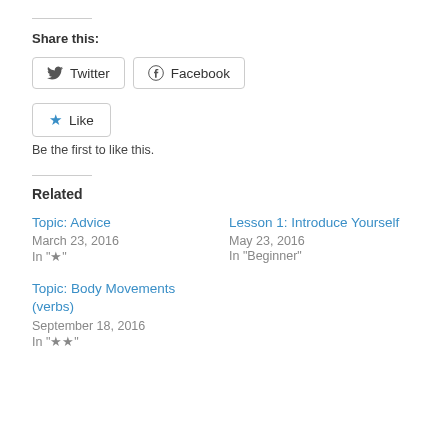Share this:
Twitter  Facebook
★ Like
Be the first to like this.
Related
Topic: Advice
March 23, 2016
In "★"
Lesson 1: Introduce Yourself
May 23, 2016
In "Beginner"
Topic: Body Movements (verbs)
September 18, 2016
In "★★"